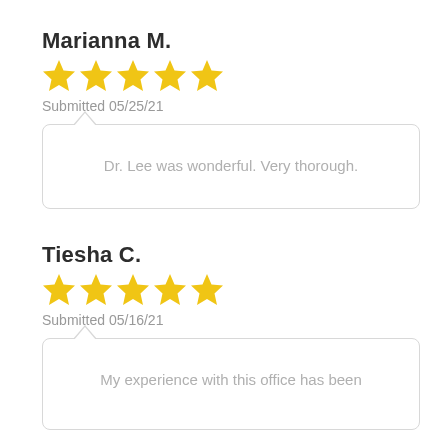Marianna M.
★★★★★
Submitted 05/25/21
Dr. Lee was wonderful. Very thorough.
Tiesha C.
★★★★★
Submitted 05/16/21
My experience with this office has been